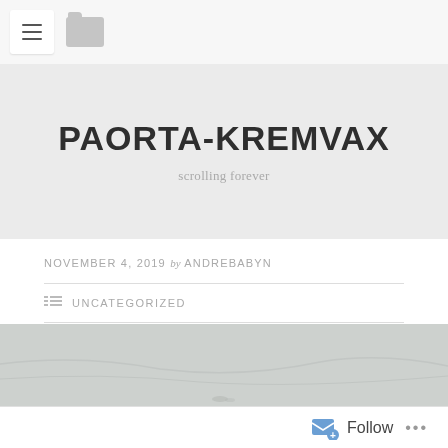Navigation bar with menu and folder icons
PAORTA-KREMVAX
scrolling forever
NOVEMBER 4, 2019 by ANDREBABYN
UNCATEGORIZED
LEAVE A COMMENT
[Figure (photo): Partial photo with light gray/blue tones, appears to be an outdoor scene]
Follow ...